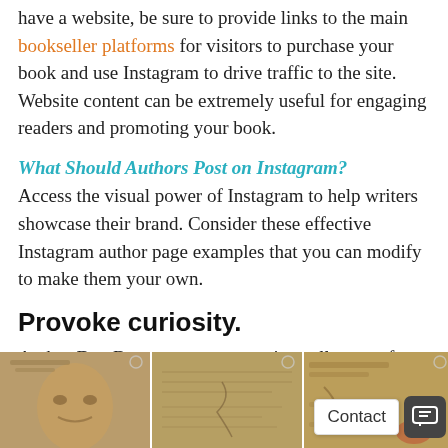have a website, be sure to provide links to the main bookseller platforms for visitors to purchase your book and use Instagram to drive traffic to the site. Website content can be extremely useful for engaging readers and promoting your book.
What Should Authors Post on Instagram?
Access the visual power of Instagram to help writers showcase their brand. Consider these effective Instagram author page examples that you can modify to make them your own.
Provoke curiosity.
Author Dan Brown uses provocative collages to form full images on his grid but then uses simple, random captions to accompany them.
[Figure (photo): Three side-by-side antique-style collage images from Dan Brown's Instagram, showing aged manuscript/face imagery. A 'Contact' button and chat icon overlay the bottom right.]